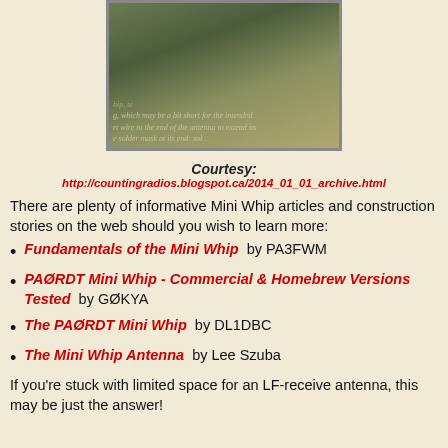[Figure (photo): Photo of a small green PCB/antenna board with handwritten or printed text visible in background, shown at an angle]
Courtesy:
http://countingradios.blogspot.ca/2014_01_01_archive.html
There are plenty of informative Mini Whip articles and construction stories on the web should you wish to learn more:
Fundamentals of the Mini Whip  by PA3FWM
PAØRDT Mini Whip - Commercial & Homebrew Versions Tested  by G0KYA
The PAØRDT Mini Whip  by DL1DBC
The Mini Whip Antenna  by Lee Szuba
If you're stuck with limited space for an LF-receive antenna, this may be just the answer!